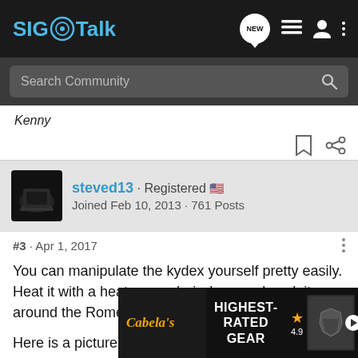SIG Talk
Search Community
Kenny
steved13 · Registered
Joined Feb 10, 2013 · 761 Posts
#3 · Apr 1, 2017
You can manipulate the kydex yourself pretty easily. Heat it with a heat gun or hair dryer and work it around the Romeo.

Here is a picture of a very bad job I did. I got cocky and rushed it, and m... conceale... ave
[Figure (screenshot): Cabela's Highest-Rated Gear advertisement overlay at the bottom of the page, showing Cabela's logo, 'HIGHEST-RATED GEAR' text, a 4.9 star rating, and a product image with a play button.]